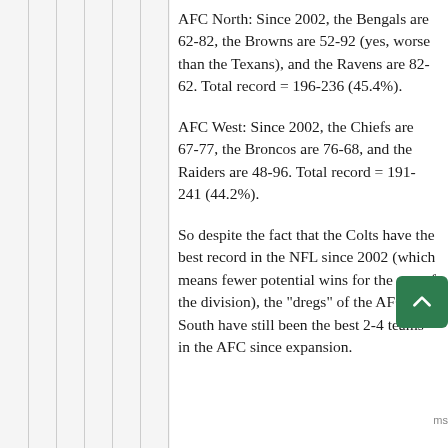AFC North: Since 2002, the Bengals are 62-82, the Browns are 52-92 (yes, worse than the Texans), and the Ravens are 82-62. Total record = 196-236 (45.4%).
AFC West: Since 2002, the Chiefs are 67-77, the Broncos are 76-68, and the Raiders are 48-96. Total record = 191-241 (44.2%).
So despite the fact that the Colts have the best record in the NFL since 2002 (which means fewer potential wins for the rest of the division), the "dregs" of the AFC South have still been the best 2-4 teams in the AFC since expansion.